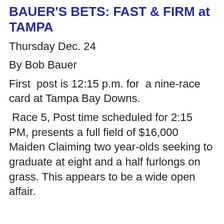BAUER'S BETS: FAST & FIRM at TAMPA
Thursday Dec. 24
By Bob Bauer
First post is 12:15 p.m. for a nine-race card at Tampa Bay Downs.
Race 5, Post time scheduled for 2:15 PM, presents a full field of $16,000 Maiden Claiming two year-olds seeking to graduate at eight and a half furlongs on grass. This appears to be a wide open affair.